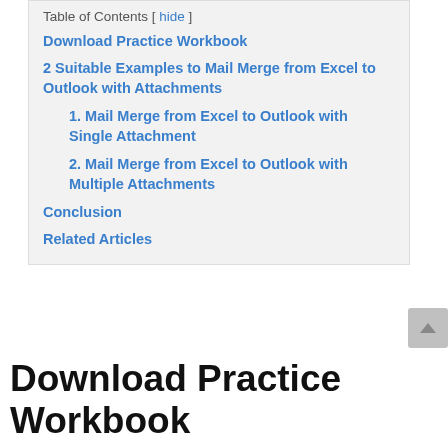Table of Contents [ hide ]
Download Practice Workbook
2 Suitable Examples to Mail Merge from Excel to Outlook with Attachments
1. Mail Merge from Excel to Outlook with Single Attachment
2. Mail Merge from Excel to Outlook with Multiple Attachments
Conclusion
Related Articles
Download Practice Workbook
Download this practice workbook to exerci…